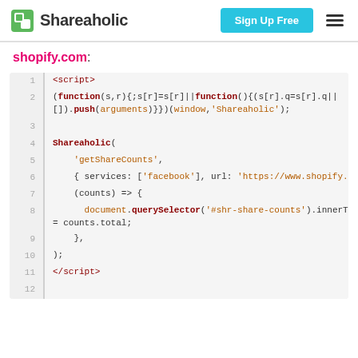Shareaholic | Sign Up Free
shopify.com:
[Figure (screenshot): Code snippet showing JavaScript code using Shareaholic API to get share counts for shopify.com, with syntax highlighting. Lines 1-12 shown.]